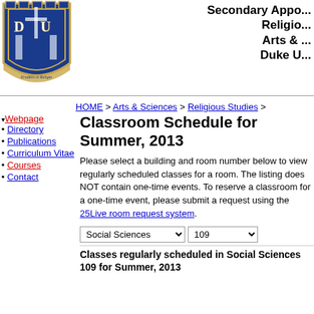[Figure (logo): Duke University crest/shield logo with 'Eruditio et Religio' text]
Secondary Appo...
Relgio...
Arts &...
Duke U...
HOME > Arts & Sciences > Religious Studies >
▾ Webpage
• Directory
• Publications
• Curriculum Vitae
• Courses
• Contact
Classroom Schedule for Summer, 2013
Please select a building and room number below to view regularly scheduled classes for a room. The listing does NOT contain one-time events. To reserve a classroom for a one-time event, please submit a request using the 25Live room request system.
Social Sciences | 109
Classes regularly scheduled in Social Sciences 109 for Summer, 2013